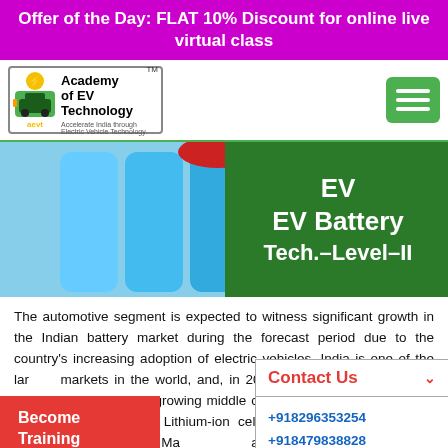Offer of the Day: FLAT 10% Discount for online live virtual class
[Figure (logo): Academy of EV Technology logo with TM mark]
[Figure (photo): EV Battery Tech - Level II course banner with blue cylindrical battery cells and green background text]
The automotive segment is expected to witness significant growth in the Indian battery market during the forecast period due to the country's increasing adoption of electric vehicles. India is one of the largest markets in the world, and, in 2021. The segment dominates the automotive market growing middle class and a young population. Get the knowledge of Lithium-ion cell p... Chemistry, Cell Architecture, Thermal Ma... and battery pack assembly technical and detail before setup assembly line.
Contact Us
+918296353254
+918479838828
11 AM to 6 PM
Become Training Partner